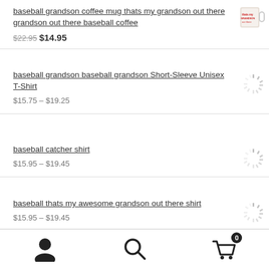baseball grandson coffee mug thats my grandson out there grandson out there baseball coffee — $22.95 $14.95
baseball grandson baseball grandson Short-Sleeve Unisex T-Shirt — $15.75 – $19.25
baseball catcher shirt — $15.95 – $19.45
baseball thats my awesome grandson out there shirt — $15.95 – $19.45
User account | Search | Cart (0)